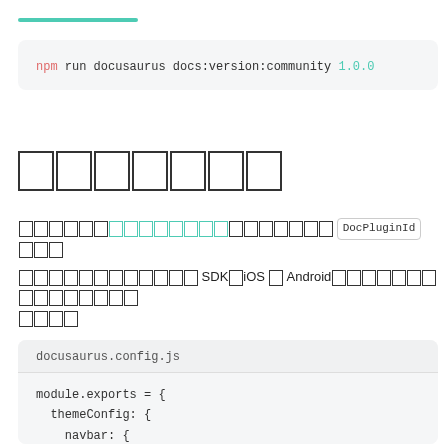npm run docusaurus docs:version:community 1.0.0
タグ付け
コミュニティプラグインのタグ付けは、DocPluginId オプション
モバイルSDK（iOS・Android）のバージョンと同期させることができます。
docusaurus.config.js
module.exports = {
  themeConfig: {
    navbar: {
      items: [